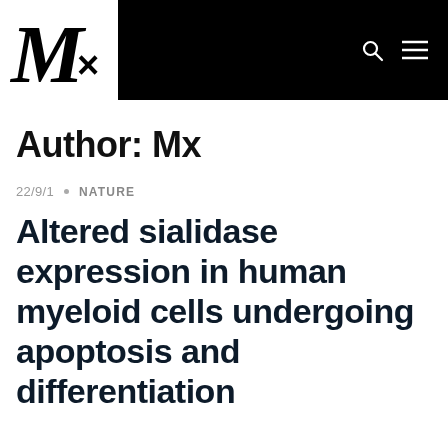[Figure (logo): Mx logo — stylized italic M with x, white on black background header bar with search and menu icons]
Author: Mx
22/9/1 · NATURE
Altered sialidase expression in human myeloid cells undergoing apoptosis and differentiation